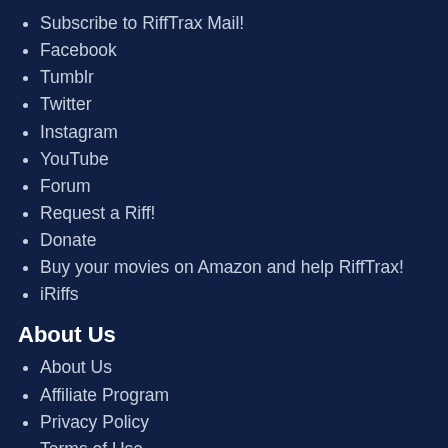Subscribe to RiffTrax Mail!
Facebook
Tumblr
Twitter
Instagram
YouTube
Forum
Request a Riff!
Donate
Buy your movies on Amazon and help RiffTrax!
iRiffs
About Us
About Us
Affiliate Program
Privacy Policy
Terms of Use
Support Links